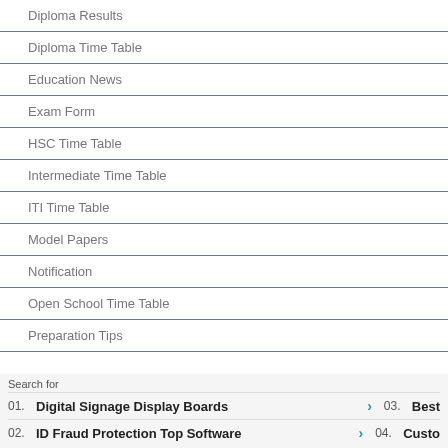Diploma Results
Diploma Time Table
Education News
Exam Form
HSC Time Table
Intermediate Time Table
ITI Time Table
Model Papers
Notification
Open School Time Table
Preparation Tips
Search for
01. Digital Signage Display Boards > 03. Best
02. ID Fraud Protection Top Software > 04. Custo
Yahoo! Search | Sponsored